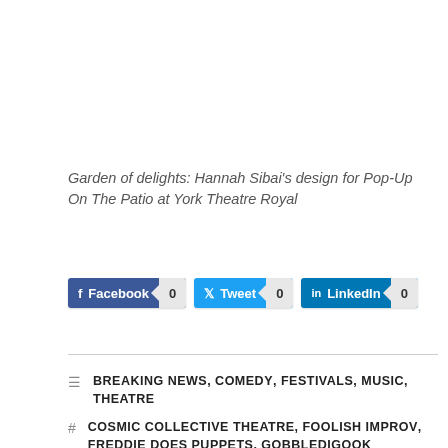Garden of delights: Hannah Sibai's design for Pop-Up On The Patio at York Theatre Royal
[Figure (infographic): Social share buttons for Facebook (0), Tweet (0), LinkedIn (0)]
BREAKING NEWS, COMEDY, FESTIVALS, MUSIC, THEATRE
COSMIC COLLECTIVE THEATRE, FOOLISH IMPROV, FREDDIE DOES PUPPETS, GOBBLEDIGOOK THEATRE, HENRY RABY, JESS GARDHAM, JUST JOSH, MUD PIE ARTS, POP UP ON THE PATIO, SAY OWT, STORY CRAFT THEATRE, THE FLANAGAN COLLECTIVE, TOM BIRD, YORK DANCE SPACE, YORK THEATRE...